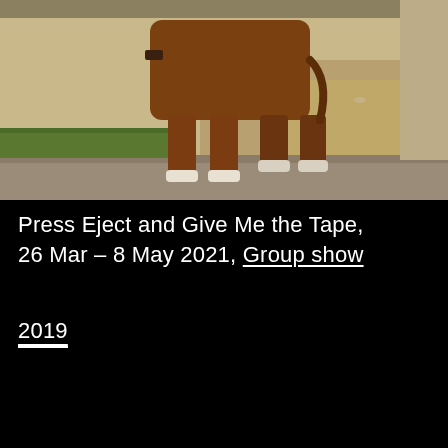[Figure (photo): Photograph of a horse's lower body and legs standing on a grassy/dirt area with a low stone or concrete wall ledge in the foreground.]
Press Eject and Give Me the Tape, 26 Mar – 8 May 2021, Group show
2019